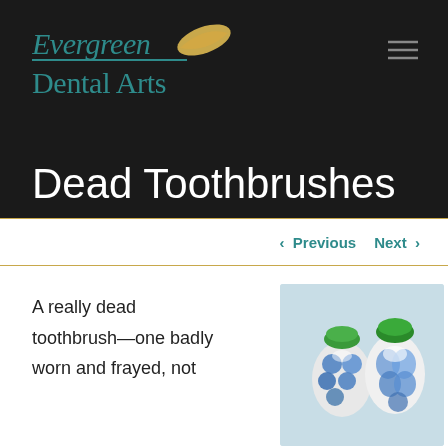[Figure (logo): Evergreen Dental Arts logo with teal cursive text and golden leaf icon]
Dead Toothbrushes
< Previous   Next >
A really dead toothbrush—one badly worn and frayed, not
[Figure (photo): Close-up photo of two worn toothbrush heads with blue and green bristles]